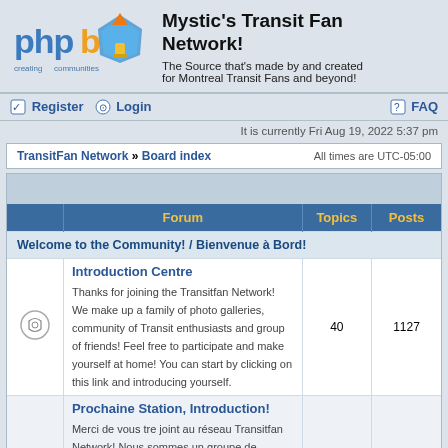[Figure (logo): phpBB logo with 'creating communities' text and blue/orange graphic]
Mystic's Transit Fan Network!
The Source that's made by and created for Montreal Transit Fans and beyond!
Register  Login
FAQ
It is currently Fri Aug 19, 2022 5:37 pm
TransitFan Network » Board index    All times are UTC-05:00
| Forum | Topics | Posts |
| --- | --- | --- |
| Welcome to the Community! / Bienvenue à Bord! |  |  |
| Introduction Centre
Thanks for joining the Transitfan Network! We make up a family of photo galleries, community of Transit enthusiasts and group of friends! Feel free to participate and make yourself at home! You can start by clicking on this link and introducing yourself. | 40 | 1127 |
| Prochaine Station, Introduction!
Merci de vous tre joint au réseau Transitfan Network! Nous sommes un groupe de |  |  |